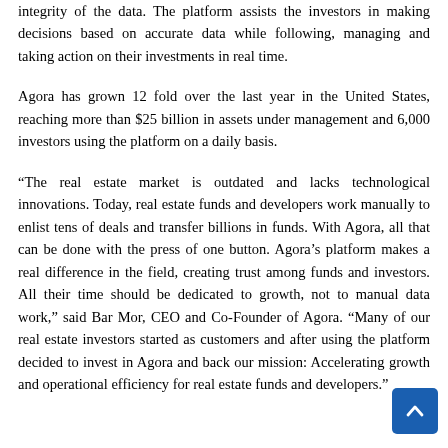integrity of the data. The platform assists the investors in making decisions based on accurate data while following, managing and taking action on their investments in real time.
Agora has grown 12 fold over the last year in the United States, reaching more than $25 billion in assets under management and 6,000 investors using the platform on a daily basis.
“The real estate market is outdated and lacks technological innovations. Today, real estate funds and developers work manually to enlist tens of deals and transfer billions in funds. With Agora, all that can be done with the press of one button. Agora’s platform makes a real difference in the field, creating trust among funds and investors. All their time should be dedicated to growth, not to manual data work,” said Bar Mor, CEO and Co-Founder of Agora. “Many of our real estate investors started as customers and after using the platform decided to invest in Agora and back our mission: Accelerating growth and operational efficiency for real estate funds and developers.”